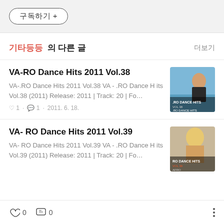구독하기 +
기타등등 의 다른 글
VA-RO Dance Hits 2011 Vol.38
VA-.RO Dance Hits 2011 Vol.38 VA - .RO Dance Hits Vol.38 (2011) Release: 2011 | Track: 20 | Fo…
♡ 1 · 💬 1 · 2011. 6. 18.
[Figure (photo): Album cover for VA-RO Dance Hits 2011 Vol.38 showing a woman on beach with RO Dance Hits text]
VA- RO Dance Hits 2011 Vol.39
VA- RO Dance Hits 2011 Vol.39 VA - .RO Dance Hits Vol.39 (2011) Release: 2011 | Track: 20 | Fo…
[Figure (photo): Album cover for VA-RO Dance Hits 2011 Vol.39 showing a blonde woman with RO Dance Hits text]
0  0